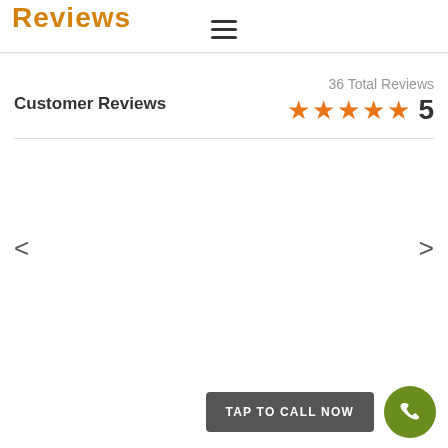Reviews
[Figure (infographic): Hamburger menu icon (three horizontal lines)]
Customer Reviews
36 Total Reviews
[Figure (infographic): Five orange star rating icons followed by the number 5]
<
>
TAP TO CALL NOW
[Figure (infographic): Green circle with white phone handset icon]